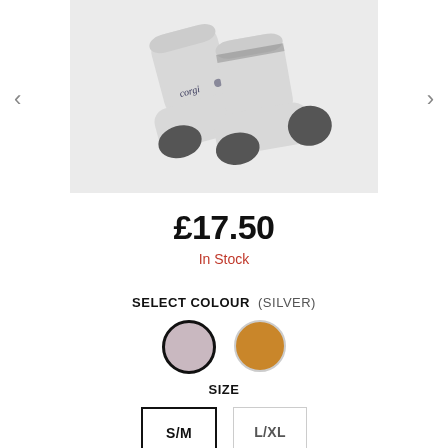[Figure (photo): Grey ankle socks with dark charcoal heel and toe panels, Corgi brand logo visible on the side, displayed against a light grey background]
£17.50
In Stock
SELECT COLOUR  (SILVER)
[Figure (illustration): Two colour swatches: silver/mauve (selected, with dark border) and gold/mustard (unselected, light border)]
SIZE
[Figure (illustration): Two size selector buttons: S/M (selected, dark border) and L/XL (unselected, light border)]